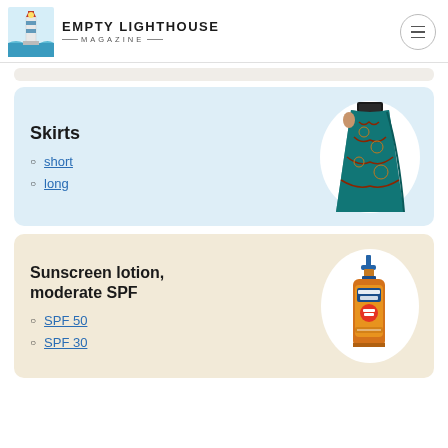EMPTY LIGHTHOUSE MAGAZINE
Skirts
short
long
[Figure (illustration): Woman wearing a colorful teal and red patterned long skirt]
Sunscreen lotion, moderate SPF
SPF 50
SPF 30
[Figure (photo): Orange pump bottle of sunscreen lotion]